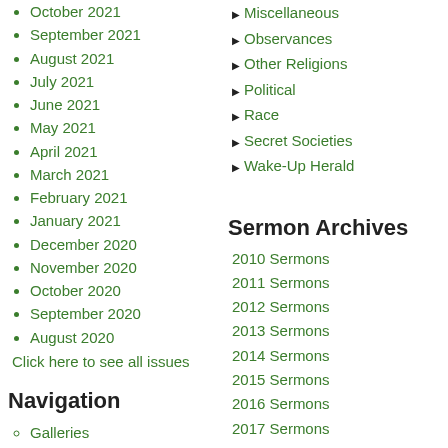October 2021
September 2021
August 2021
July 2021
June 2021
May 2021
April 2021
March 2021
February 2021
January 2021
December 2020
November 2020
October 2020
September 2020
August 2020
Click here to see all issues
Navigation
Galleries
Popular content
Miscellaneous
Observances
Other Religions
Political
Race
Secret Societies
Wake-Up Herald
Sermon Archives
2010 Sermons
2011 Sermons
2012 Sermons
2013 Sermons
2014 Sermons
2015 Sermons
2016 Sermons
2017 Sermons
2018 Sermons
2019 Sermons
2020 Sermons
2021 Sermons